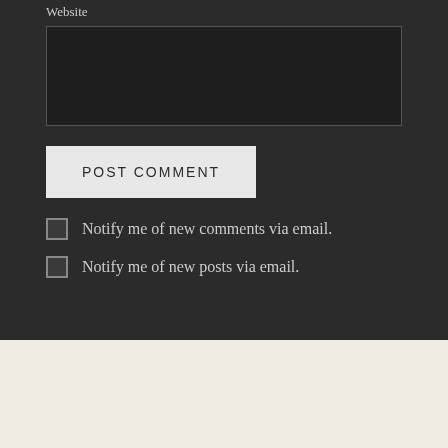Website
POST COMMENT
Notify me of new comments via email.
Notify me of new posts via email.